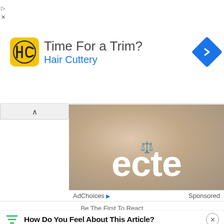[Figure (screenshot): Hair Cuttery advertisement banner with yellow HC logo, 'Time For a Trim?' headline, 'Hair Cuttery' subtext in blue, and blue diamond navigation arrow]
[Figure (photo): Baby sleeping photo with large white text 'ecte' overlaid, small orange scales icon in center, AdChoices label and Sponsored label at bottom]
AdChoices ▷    Sponsored
Be The First To React
How Do You Feel About This Article?
[Figure (screenshot): Bottom ad card: photo of blonde woman with eye pain, text 'Symptoms of Macular Degeneration - Catching It Ear...' with 'Mac Degen | Search Ads | Sponsored']